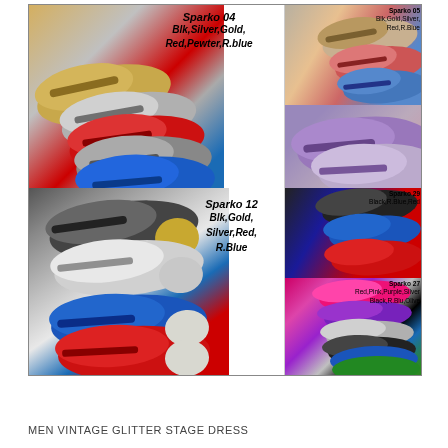[Figure (photo): Product catalog page showing men's glitter dress shoes. Top half: Sparko 04 in Blk, Silver, Gold, Red, Pewter, R.blue (large image left); Sparko 05 in Blk, Gold, Silver, Red, R.Blue (small image top right); purple glitter shoe (bottom right). Bottom half: Sparko 12 in Blk, Gold, Silver, Red, R.Blue (large image left with metallic toe); Sparko 29 in Black, R.Blue, Red (small top right); Sparko 27 in Red, Pink, Purple, Silver, Black, R.Blu, Olive (small bottom right).]
MEN VINTAGE GLITTER STAGE DRESS